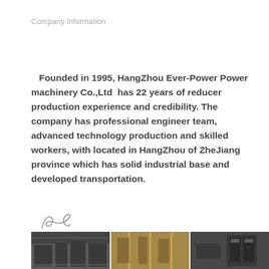Company Information
Founded in 1995, HangZhou Ever-Power Power machinery Co.,Ltd has 22 years of reducer production experience and credibility. The company has professional engineer team, advanced technology production and skilled workers, with located in HangZhou of ZheJiang province which has solid industrial base and developed transportation.
[Figure (illustration): Handwritten signature in cursive script]
[Figure (photo): Three industrial facility photos side by side at the bottom of the page: left shows factory floor with machinery, center shows industrial interior with warm lighting, right shows equipment or product display]